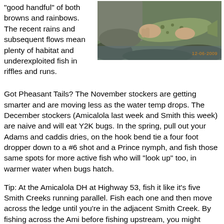“good handful” of both browns and rainbows. The recent rains and subsequent flows mean plenty of habitat and underexploited fish in riffles and runs.
[Figure (photo): A person holding a brown trout with both hands, photographed outdoors near rocks. Timestamp reads 12-06-2009.]
Got Pheasant Tails? The November stockers are getting smarter and are moving less as the water temp drops. The December stockers (Amicalola last week and Smith this week) are naive and will eat Y2K bugs. In the spring, pull out your Adams and caddis dries, on the hook bend tie a four foot dropper down to a #6 shot and a Prince nymph, and fish those same spots for more active fish who will "look up" too, in warmer water when bugs hatch.
Tip: At the Amicalola DH at Highway 53, fish it like it’s five Smith Creeks running parallel. Fish each one and then move across the ledge until you’re in the adjacent Smith Creek. By fishing across the Ami before fishing upstream, you might catch a few more with your short-line techniques in each